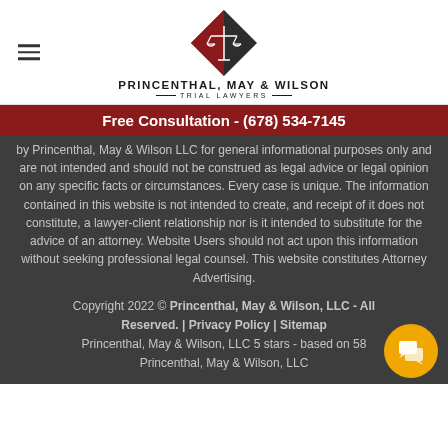Princenthal, May & Wilson - Trial Lawyers
Free Consultation - (678) 534-7145
by Princenthal, May & Wilson LLC for general informational purposes only and are not intended and should not be construed as legal advice or legal opinion on any specific facts or circumstances. Every case is unique. The information contained in this website is not intended to create, and receipt of it does not constitute, a lawyer-client relationship nor is it intended to substitute for the advice of an attorney. Website Users should not act upon this information without seeking professional legal counsel. This website constitutes Attorney Advertising.
Copyright 2022 © Princenthal, May & Wilson, LLC - All Reserved. | Privacy Policy | Sitemap
Princenthal, May & Wilson, LLC 5 stars - based on 58
Princenthal, May & Wilson, LLC